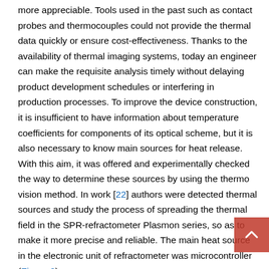more appreciable. Tools used in the past such as contact probes and thermocouples could not provide the thermal data quickly or ensure cost-effectiveness. Thanks to the availability of thermal imaging systems, today an engineer can make the requisite analysis timely without delaying product development schedules or interfering in production processes. To improve the device construction, it is insufficient to have information about temperature coefficients for components of its optical scheme, but it is also necessary to know main sources for heat release. With this aim, it was offered and experimentally checked the way to determine these sources by using the thermo vision method. In work [22] authors were detected thermal sources and study the process of spreading the thermal field in the SPR-refractometer Plasmon series, so as to make it more precise and reliable. The main heat source in the electronic unit of refractometer was microcontroller (Figure 2).